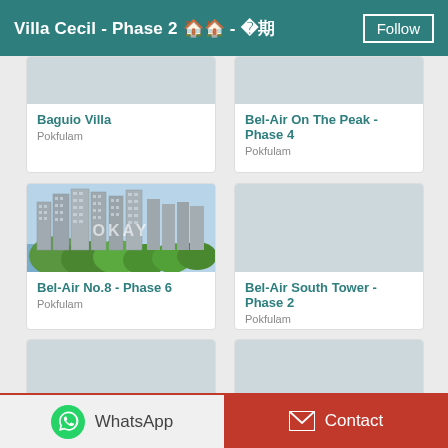Villa Cecil - Phase 2 🏠 - 第2期
Baguio Villa
Pokfulam
Bel-Air On The Peak - Phase 4
Pokfulam
[Figure (photo): Aerial photo of Bel-Air No.8 high-rise residential towers surrounded by green trees with watermark OKAY]
Bel-Air No.8 - Phase 6
Pokfulam
Bel-Air South Tower - Phase 2
Pokfulam
WhatsApp
Contact